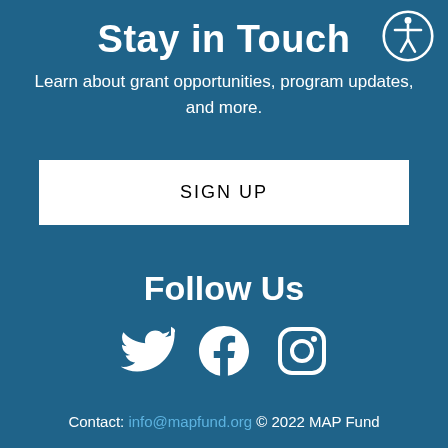Stay in Touch
Learn about grant opportunities, program updates, and more.
SIGN UP
Follow Us
[Figure (illustration): Social media icons: Twitter bird, Facebook f, Instagram camera]
Contact: info@mapfund.org © 2022 MAP Fund